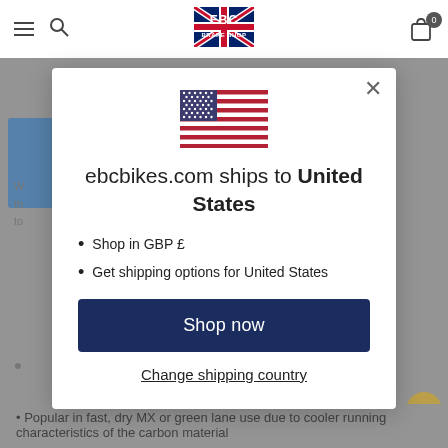EBC BRAKE SHOP
[Figure (screenshot): Modal dialog on EBC Brake Shop website showing US flag, shipping information, and Shop now button]
ebcbikes.com ships to United States
Shop in GBP £
Get shipping options for United States
Shop now
Change shipping country
Popular in fast, dry MX or green lane use due to cooler running characteristics of the carbon material